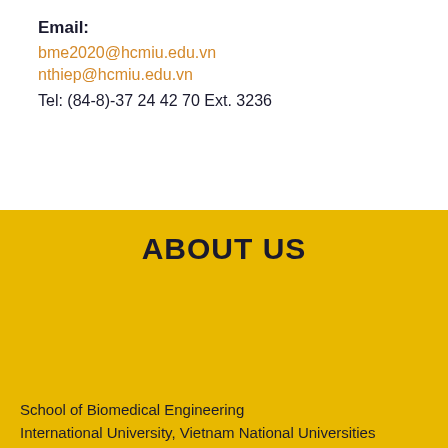Email:
bme2020@hcmiu.edu.vn
nthiep@hcmiu.edu.vn
Tel: (84-8)-37 24 42 70  Ext. 3236
ABOUT US
School of Biomedical Engineering
International University, Vietnam National Universities